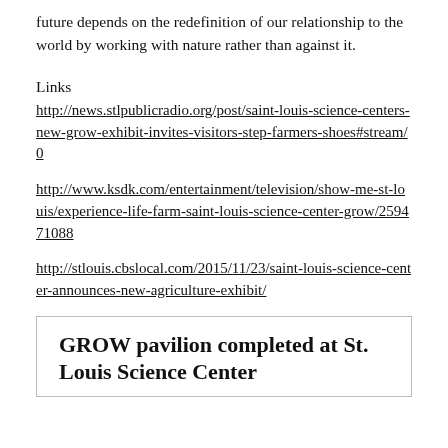future depends on the redefinition of our relationship to the world by working with nature rather than against it.
Links
http://news.stlpublicradio.org/post/saint-louis-science-centers-new-grow-exhibit-invites-visitors-step-farmers-shoes#stream/0
http://www.ksdk.com/entertainment/television/show-me-st-louis/experience-life-farm-saint-louis-science-center-grow/259471088
http://stlouis.cbslocal.com/2015/11/23/saint-louis-science-center-announces-new-agriculture-exhibit/
GROW pavilion completed at St. Louis Science Center